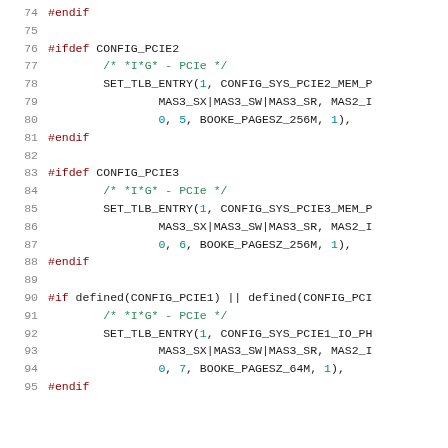[Figure (screenshot): Source code listing showing C preprocessor directives for PCIe configuration with line numbers 74-95. Code includes #ifdef CONFIG_PCIE2, #ifdef CONFIG_PCIE3, and #if defined() blocks with SET_TLB_ENTRY macro calls.]